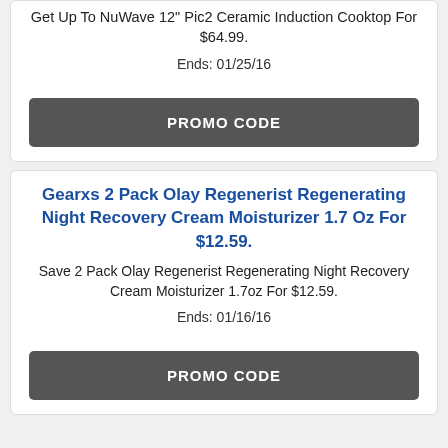Get Up To NuWave 12" Pic2 Ceramic Induction Cooktop For $64.99.
Ends: 01/25/16
PROMO CODE
Gearxs 2 Pack Olay Regenerist Regenerating Night Recovery Cream Moisturizer 1.7 Oz For $12.59.
Save 2 Pack Olay Regenerist Regenerating Night Recovery Cream Moisturizer 1.7oz For $12.59.
Ends: 01/16/16
PROMO CODE